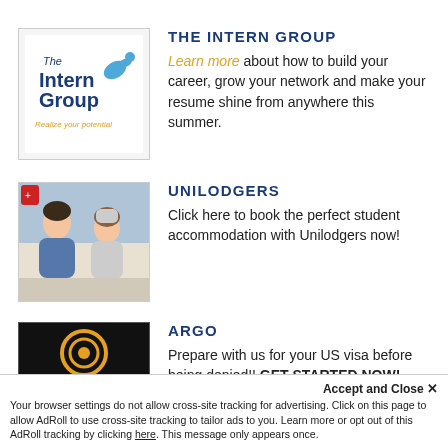[Figure (logo): The Intern Group logo - text and bird icon]
THE INTERN GROUP
Learn more about how to build your career, grow your network and make your resume shine from anywhere this summer.
[Figure (photo): Two students sitting and talking, Unilodgers advertisement photo]
UNILODGERS
Click here to book the perfect student accommodation with Unilodgers now!
[Figure (photo): Argo Visa dark advertisement with circular logo]
ARGO
Prepare with us for your US visa before being denied!! GET STARTED NOW!
Accept and Close ×
Your browser settings do not allow cross-site tracking for advertising. Click on this page to allow AdRoll to use cross-site tracking to tailor ads to you. Learn more or opt out of this AdRoll tracking by clicking here. This message only appears once.